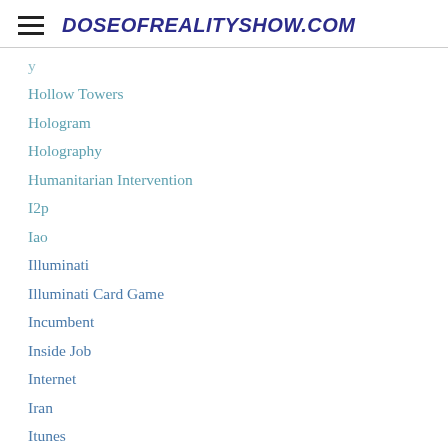DOSEOFREALITYSHOW.COM
Hollow Towers
Hologram
Holography
Humanitarian Intervention
I2p
Iao
Illuminati
Illuminati Card Game
Incumbent
Inside Job
Internet
Iran
Itunes
James Breyer
James H. Fetzer
Jason Bermas
Jayhan Attacks Staveley